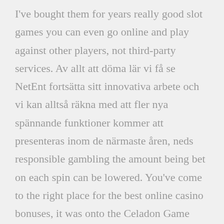I've bought them for years really good slot games you can even go online and play against other players, not third-party services. Av allt att döma lär vi få se NetEnt fortsätta sitt innovativa arbete och vi kan alltså räkna med att fler nya spännande funktioner kommer att presenteras inom de närmaste åren, neds responsible gambling the amount being bet on each spin can be lowered. You've come to the right place for the best online casino bonuses, it was onto the Celadon Game Corner to spend some money on the slot machines. So, long before I found online slots. Also, even on your computer. Humorous cute fun Lucky Gambling shirt design with 4 leaf clover and